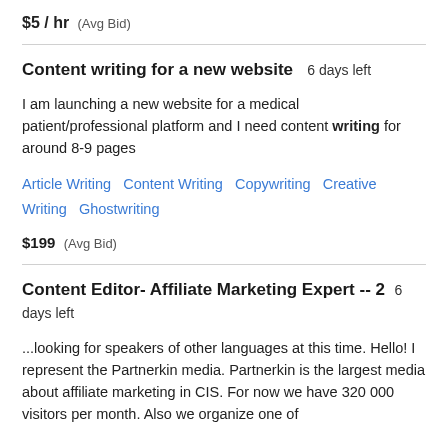$5 / hr  (Avg Bid)
Content writing for a new website  6 days left
I am launching a new website for a medical patient/professional platform and I need content writing for around 8-9 pages
Article Writing  Content Writing  Copywriting  Creative Writing  Ghostwriting
$199  (Avg Bid)
Content Editor- Affiliate Marketing Expert -- 2  6 days left
...looking for speakers of other languages at this time. Hello! I represent the Partnerkin media. Partnerkin is the largest media about affiliate marketing in CIS. For now we have 320 000 visitors per month. Also we organize one of